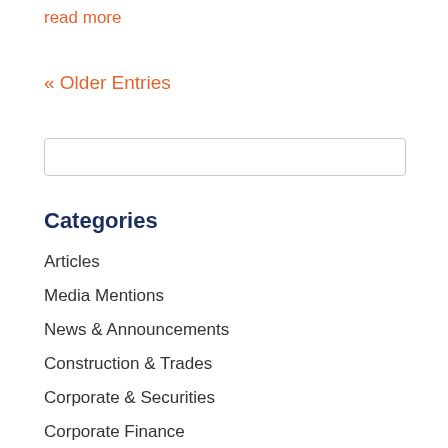read more
« Older Entries
Categories
Articles
Media Mentions
News & Announcements
Construction & Trades
Corporate & Securities
Corporate Finance
Cyber Security